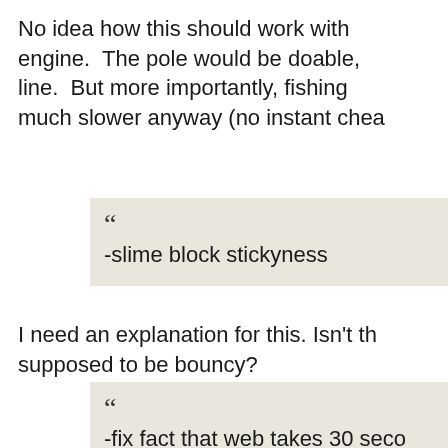No idea how this should work with engine. The pole would be doable, line. But more importantly, fishing much slower anyway (no instant chea
" -slime block stickyness
I need an explanation for this. Isn't th supposed to be bouncy?
" -fix fact that web takes 30 seco DIAMOND pic!!!